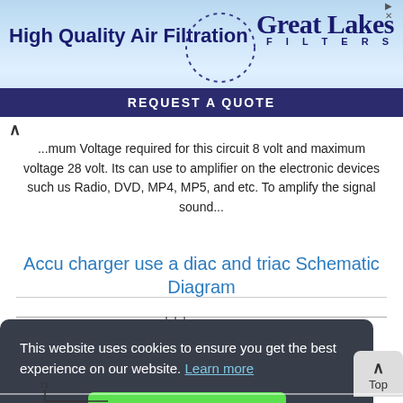[Figure (screenshot): Advertisement banner for Great Lakes Filters - High Quality Air Filtration with Request a Quote button]
...mum Voltage required for this circuit 8 volt and maximum voltage 28 volt. Its can use to amplifier on the electronic devices such us Radio, DVD, MP4, MP5, and etc. To amplify the signal sound...
Accu charger use a diac and triac Schematic Diagram
This website uses cookies to ensure you get the best experience on our website. Learn more
Got it!